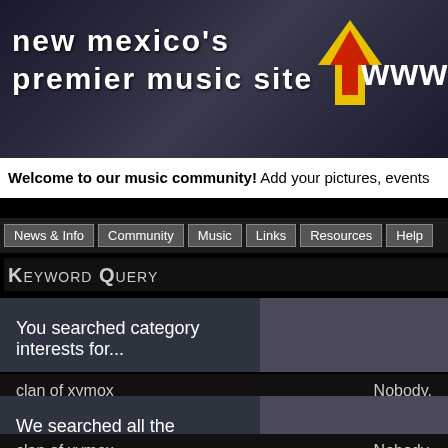[Figure (screenshot): Banner header with dark blue/grey textured background showing 'new mexico's premier music site' text in white bold, a yellow/red arrow logo, and 'www.' text on the right]
Welcome to our music community! Add your pictures, events
News & Info
Community
Music
Links
Resources
Help
Keyword Query
You searched category interests for...
clan of xymox
Nobody.
We searched all the categories for...
clan of xymox
Nobody.